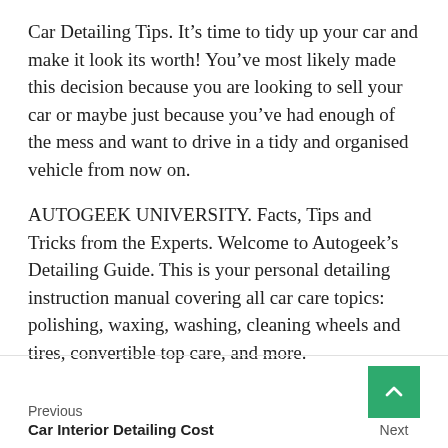Car Detailing Tips. It's time to tidy up your car and make it look its worth! You've most likely made this decision because you are looking to sell your car or maybe just because you've had enough of the mess and want to drive in a tidy and organised vehicle from now on.
AUTOGEEK UNIVERSITY. Facts, Tips and Tricks from the Experts. Welcome to Autogeek's Detailing Guide. This is your personal detailing instruction manual covering all car care topics: polishing, waxing, washing, cleaning wheels and tires, convertible top care, and more.
Previous
Car Interior Detailing Cost
Next